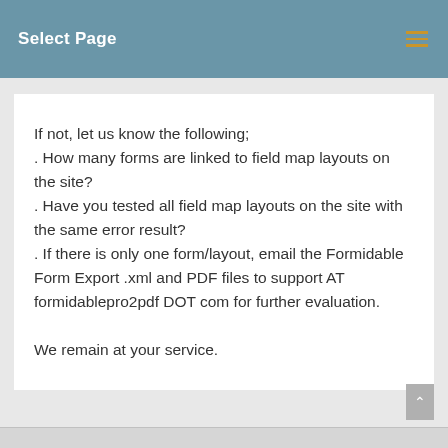Select Page
If not, let us know the following;
. How many forms are linked to field map layouts on the site?
. Have you tested all field map layouts on the site with the same error result?
. If there is only one form/layout, email the Formidable Form Export .xml and PDF files to support AT formidablepro2pdf DOT com for further evaluation.

We remain at your service.